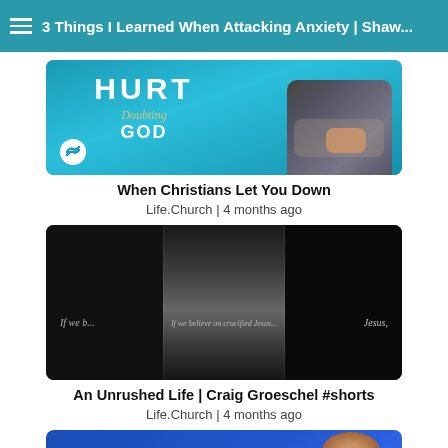3 Things I Learned When Attacking Anxiety | Shaw...
[Figure (screenshot): Video thumbnail for 'When Christians Let You Down' showing blue background with text 'HURT' and 'Doubting GOD' with person's torso visible on right, Life.Church logo bottom left]
When Christians Let You Down
Life.Church | 4 months ago
[Figure (screenshot): Dark video thumbnail showing stormy water/waves in center panel with text overlay reading 'If we b... If we believe on crucified Jesus... Jesus,' in dark triptych style]
An Unrushed Life | Craig Groeschel #shorts
Life.Church | 4 months ago
[Figure (screenshot): Partially visible video thumbnail showing blue background with white bold text 'FAKING' and a person with reddish-brown hair visible on the right side]